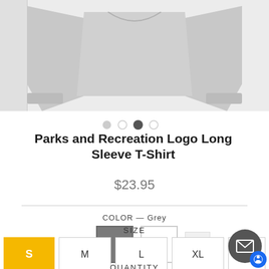[Figure (photo): Product photo of a grey long sleeve t-shirt, shown from the front with arms outstretched. A smaller thumbnail is visible on the left. Navigation dots below the image indicate slide 3 of 4 is active.]
Parks and Recreation Logo Long Sleeve T-Shirt
$23.95
COLOR — Grey
SIZE
QUANTITY